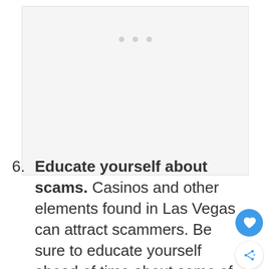[Figure (other): Placeholder image area with three light gray dots indicating loading or an image carousel]
6. Educate yourself about scams. Casinos and other elements found in Las Vegas can attract scammers. Be sure to educate yourself ahead of time about some of the more popular scams in the area. This will